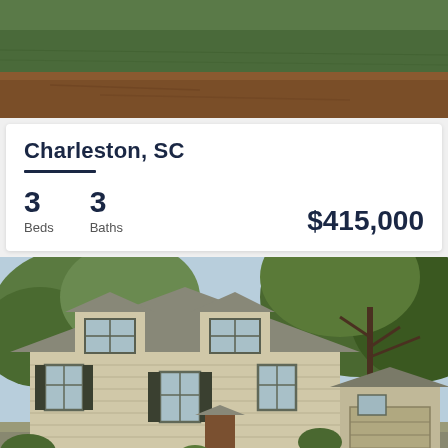[Figure (photo): Aerial or landscape photo showing green lawn and dirt/soil area, top portion of property image]
Charleston, SC
3 Beds   3 Baths   $415,000
[Figure (photo): Exterior photo of a two-story beige/cream colonial-style house with dark roof and shutters, large oak trees in background]